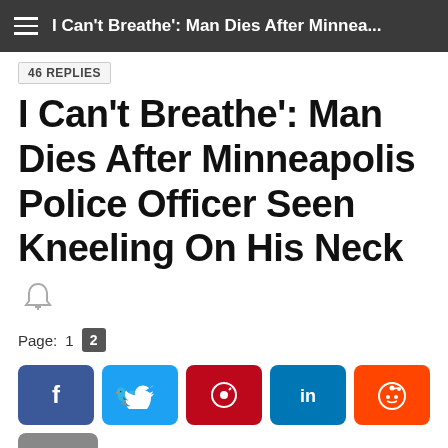I Can't Breathe': Man Dies After Minnea...
46 REPLIES
I Can't Breathe': Man Dies After Minneapolis Police Officer Seen Kneeling On His Neck
Page: 1  2
[Figure (screenshot): Social sharing buttons: Facebook, Twitter, Pinterest, LinkedIn, Reddit, and a copy button]
RadioRaheem